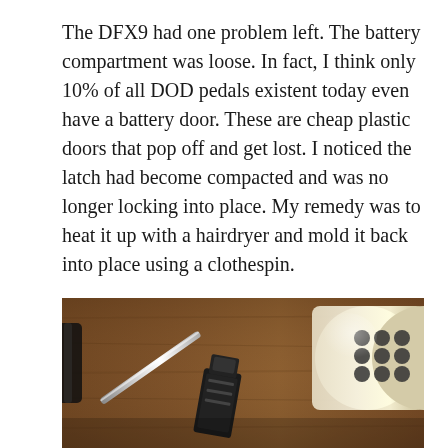The DFX9 had one problem left. The battery compartment was loose. In fact, I think only 10% of all DOD pedals existent today even have a battery door. These are cheap plastic doors that pop off and get lost. I noticed the latch had become compacted and was no longer locking into place. My remedy was to heat it up with a hairdryer and mold it back into place using a clothespin.
[Figure (photo): Photo of a battery compartment door/latch piece and a hairdryer on a wooden surface, taken from above.]